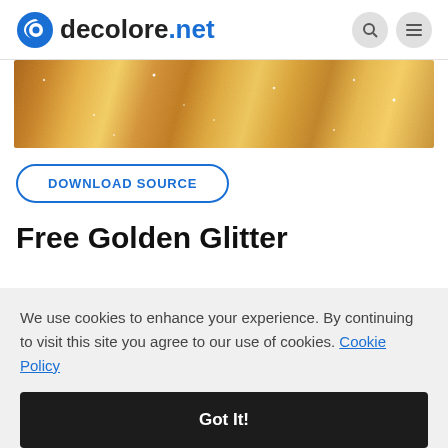decolore.net
[Figure (photo): Golden glitter texture strip, shimmering gold background]
DOWNLOAD SOURCE
Free Golden Glitter
We use cookies to enhance your experience. By continuing to visit this site you agree to our use of cookies. Cookie Policy
Got It!